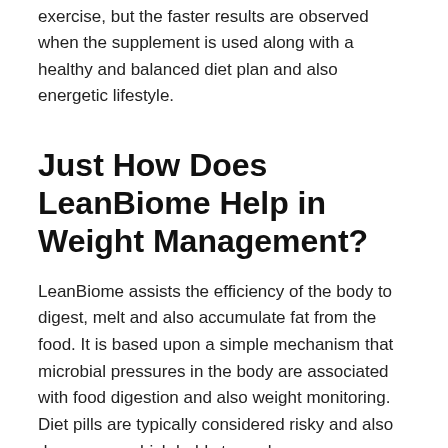exercise, but the faster results are observed when the supplement is used along with a healthy and balanced diet plan and also energetic lifestyle.
Just How Does LeanBiome Help in Weight Management?
LeanBiome assists the efficiency of the body to digest, melt and also accumulate fat from the food. It is based upon a simple mechanism that microbial pressures in the body are associated with food digestion and also weight monitoring. Diet pills are typically considered risky and also dangerous, which holds true when you are choosing an artificial product. If you are utilizing a natural product, there are lower threats included,